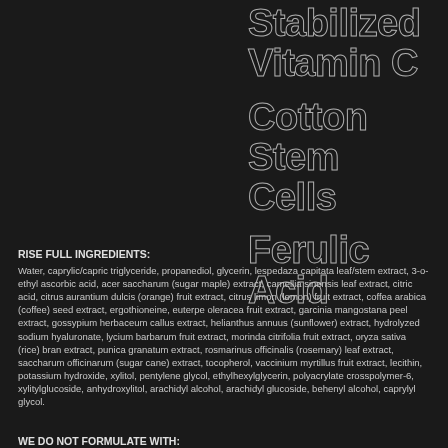Stabilized Vitamin C
Cotton Stem Cells
Ferulic Acid
RISE FULL INGREDIENTS:
Water, caprylic/capric triglyceride, propanediol, glycerin, lespedaza capitata leaf/stem extract, 3-o-ethyl ascorbic acid, acer saccharum (sugar maple) extract, camellia sinensis leaf extract, citric acid, citrus aurantium dulcis (orange) fruit extract, citrus limon (lemon) fruit extract, coffea arabica (coffee) seed extract, ergothioneine, euterpe oleracea fruit extract, garcinia mangostana peel extract, gossypium herbaceum callus extract, helianthus annuus (sunflower) extract, hydrolyzed sodium hyaluronate, lycium barbarum fruit extract, morinda citrifolia fruit extract, oryza sativa (rice) bran extract, punica granatum extract, rosmarinus officinalis (rosemary) leaf extract, saccharum officinarum (sugar cane) extract, tocopherol, vaccinium myrtillus fruit extract, lecithin, potassium hydroxide, xylitol, pentylene glycol, ethylhexylglycerin, polyacrylate crosspolymer-6, xylitylglucoside, anhydroxylitol, arachidyl alcohol, arachidyl glucoside, behenyl alcohol, caprylyl glycol.
WE DO NOT FORMULATE WITH: